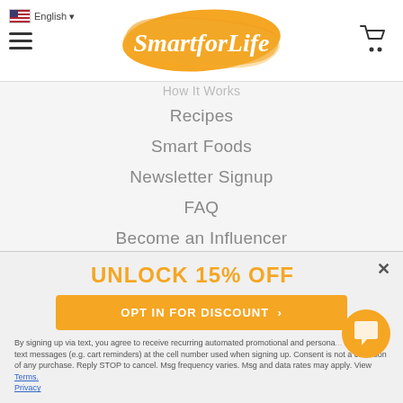SmartforLife
How It Works
Recipes
Smart Foods
Newsletter Signup
FAQ
Become an Influencer
Subscribe & Save
Sitemap
UNLOCK 15% OFF
OPT IN FOR DISCOUNT >
By signing up via text, you agree to receive recurring automated promotional and personalized marketing text messages (e.g. cart reminders) at the cell number used when signing up. Consent is not a condition of any purchase. Reply STOP to cancel. Msg frequency varies. Msg and data rates may apply. View Terms. Privacy